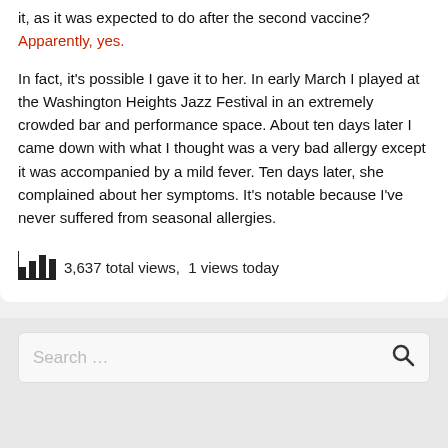it, as it was expected to do after the second vaccine?  Apparently, yes.
In fact, it's possible I gave it to her. In early March I played at the Washington Heights Jazz Festival in an extremely crowded bar and performance space. About ten days later I came down with what I thought was a very bad allergy except it was accompanied by a mild fever. Ten days later, she complained about her symptoms. It's notable because I've never suffered from seasonal allergies.
3,637 total views,  1 views today